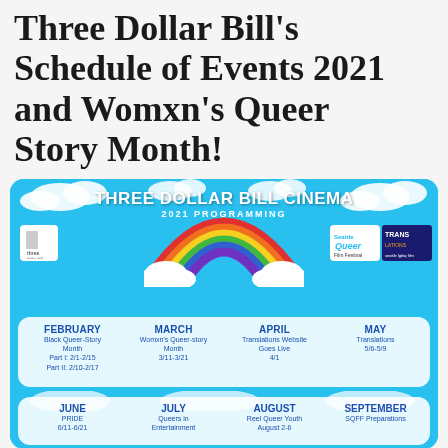Three Dollar Bill's Schedule of Events 2021 and Womxn's Queer Story Month!
[Figure (infographic): Three Dollar Bill Cinema 2021 Programming schedule infographic with rainbow and cloud graphics on blue sky background. Shows monthly events: February - Black Queer-Story Month (Part I: 2/1-2/15, Part II: 2/10-2/17), March - Womxn's Queer-story Month 3/11-3/21, April - Translations Website Goes Live 4/1, May - Translations 5/6-5/9, June - PRIDE 6/11-6/21, July - Queers in Entertainment, August - Reel Queer Youth August 2-6, September - SQFF Preparations]